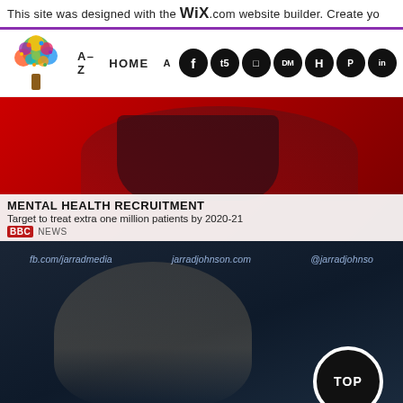This site was designed with the WIX.com website builder. Create yo
[Figure (screenshot): Website navigation bar with colorful tree logo, A-Z and HOME nav links, and social media icon circles (Facebook, Tumblr, Instagram, Twitter/DM, Pinterest, LinkedIn, etc.)]
[Figure (screenshot): BBC News broadcast screenshot showing a female presenter in floral dress with chyron: MENTAL HEALTH RECRUITMENT - Target to treat extra one million patients by 2020-21]
[Figure (screenshot): News broadcast screenshot showing a smiling female reporter with lower-third text showing fb.com/jarradmedia, jarradjohnson.com, @jarradjohnso. Black TOP button circle in lower right corner.]